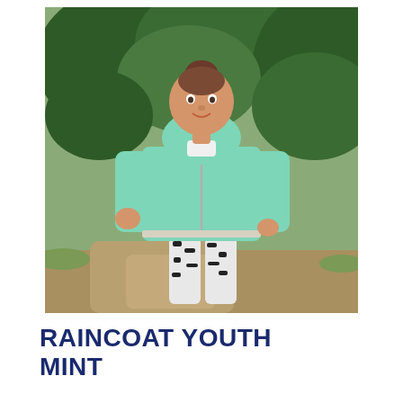[Figure (photo): A young girl smiling and posing with one hand on her hip, wearing a mint green hooded raincoat with reflective stripe at the hem, and black-and-white patterned leggings. She stands outdoors in front of green bushes and a dirt path.]
RAINCOAT YOUTH MINT